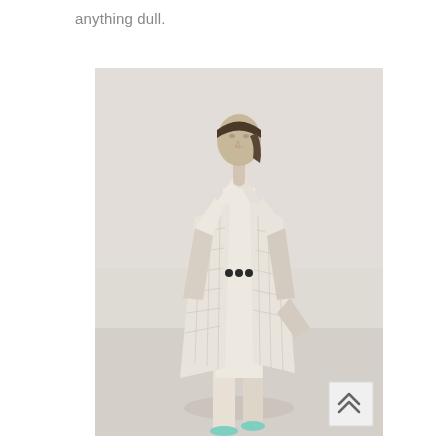anything dull.
[Figure (photo): Fashion runway photo of a model wearing a light cream/white sleeveless draped coat dress with a checked/grid pattern overlay, deep V-neckline with lapels, and dark button details at the waist. The model has her hair pulled back and wears mint/teal heels. Background is a light grey runway setting. A back-to-top arrow button appears in the lower right corner of the image.]